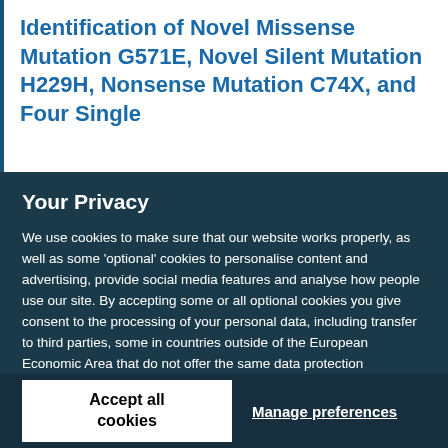Identification of Novel Missense Mutation G571E, Novel Silent Mutation H229H, Nonsense Mutation C74X, and Four Single
Your Privacy
We use cookies to make sure that our website works properly, as well as some 'optional' cookies to personalise content and advertising, provide social media features and analyse how people use our site. By accepting some or all optional cookies you give consent to the processing of your personal data, including transfer to third parties, some in countries outside of the European Economic Area that do not offer the same data protection standards as the country where you live. You can decide which optional cookies to accept by clicking on 'Manage Settings', where you can also find more information about how your personal data is processed. Further information can be found in our privacy policy.
Accept all cookies
Manage preferences